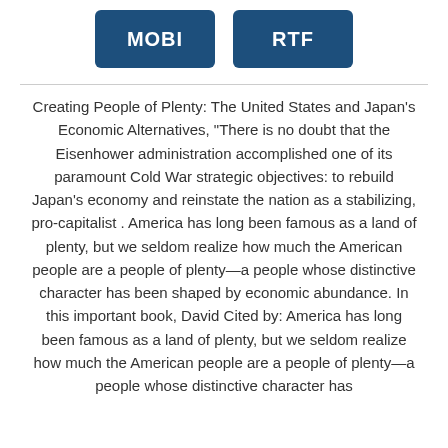[Figure (other): Two buttons labeled MOBI and RTF in dark blue rounded rectangles]
Creating People of Plenty: The United States and Japan’s Economic Alternatives, “There is no doubt that the Eisenhower administration accomplished one of its paramount Cold War strategic objectives: to rebuild Japan’s economy and reinstate the nation as a stabilizing, pro-capitalist . America has long been famous as a land of plenty, but we seldom realize how much the American people are a people of plenty—a people whose distinctive character has been shaped by economic abundance. In this important book, David Cited by: America has long been famous as a land of plenty, but we seldom realize how much the American people are a people of plenty—a people whose distinctive character has